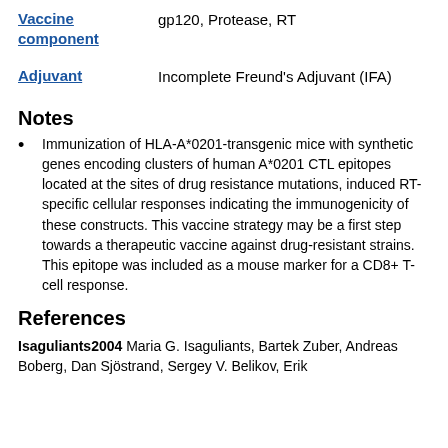| Label | Value |
| --- | --- |
| Vaccine component | gp120, Protease, RT |
| Adjuvant | Incomplete Freund's Adjuvant (IFA) |
Notes
Immunization of HLA-A*0201-transgenic mice with synthetic genes encoding clusters of human A*0201 CTL epitopes located at the sites of drug resistance mutations, induced RT-specific cellular responses indicating the immunogenicity of these constructs. This vaccine strategy may be a first step towards a therapeutic vaccine against drug-resistant strains. This epitope was included as a mouse marker for a CD8+ T-cell response.
References
Isaguliants2004 Maria G. Isaguliants, Bartek Zuber, Andreas Boberg, Dan Sjöstrand, Sergey V. Belikov, Erik